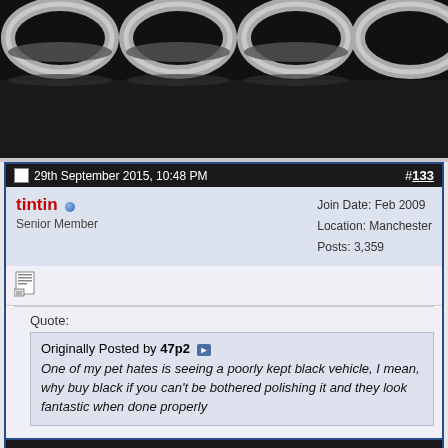[Figure (photo): Top cropped portion of a photo showing chrome/silver rings or lids on a dark background]
29th September 2015, 10:48 PM
#133
tintin
Senior Member
Join Date: Feb 2009
Location: Manchester
Posts: 3,359
Quote:
Originally Posted by 47p2
One of my pet hates is seeing a poorly kept black vehicle, I mean, why buy black if you can't be bothered polishing it and they look fantastic when done properly
I tend to agree . Provided I can amend this to say "can't be bothered getting someone to polish it" . That's my solution David